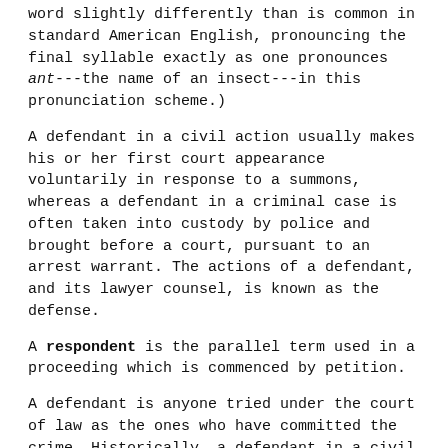word slightly differently than is common in standard American English, pronouncing the final syllable exactly as one pronounces ant---the name of an insect---in this pronunciation scheme.)
A defendant in a civil action usually makes his or her first court appearance voluntarily in response to a summons, whereas a defendant in a criminal case is often taken into custody by police and brought before a court, pursuant to an arrest warrant. The actions of a defendant, and its lawyer counsel, is known as the defense.
A respondent is the parallel term used in a proceeding which is commenced by petition.
A defendant is anyone tried under the court of law as the ones who have committed the crime. Historically, a defendant in a civil action could also be taken into custody pursuant to a writ of capias ad respondendum and forced to post bail before being released from custody. However, a modern day defendant in a civil action is usually able to avoid most (if not all) court appearances if he or she is represented by a lawyer